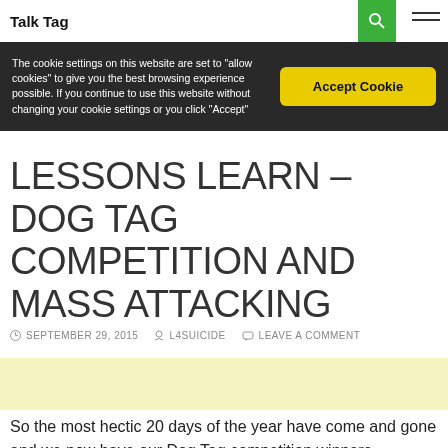Talk Tag
The cookie settings on this website are set to "allow cookies" to give you the best browsing experience possible. If you continue to use this website without changing your cookie settings or you click "Accept"
Accept Cookie
LESSONS LEARN – DOG TAG COMPETITION AND MASS ATTACKING
SEPTEMBER 29, 2015   L4SUICIDE   LEAVE A COMMENT
[Figure (other): Advertisement banner with light yellow background]
So the most hectic 20 days of the year have come and gone and we now have our Dog Tag competition winners